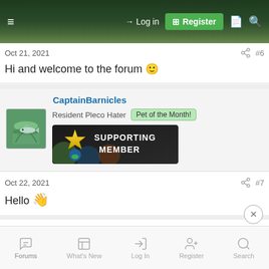Log in  Register
Oct 21, 2021  #6
Hi and welcome to the forum 🙂
CaptainBarnicles
Resident Pleco Hater  Pet of the Month!
[Figure (logo): Supporting Member badge with star logo]
Oct 22, 2021  #7
Hello 👋
Forums  What's New  Log In  Register  Search